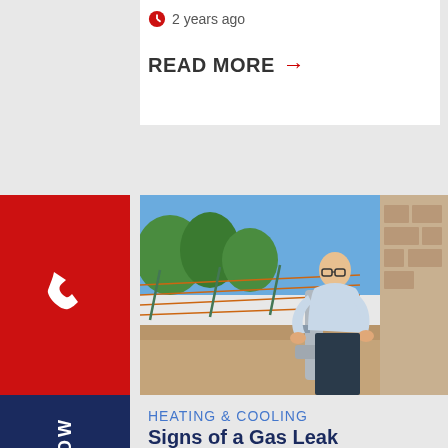2 years ago
READ MORE →
[Figure (photo): HVAC technician in a blue shirt working on a gas pipe outdoors, with an orange mesh fence and trees in the background]
HEATING & COOLING
Signs of a Gas Leak
Natural gas is used in homes and businesses for various heating needs.